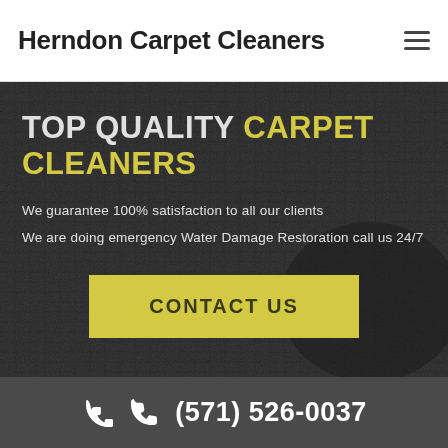Herndon Carpet Cleaners
TOP QUALITY CARPET CLEANERS
We guarantee 100% satisfaction to all our clients
We are doing emergency Water Damage Restoration call us 24/7
CONTACT US
(571) 526-0037